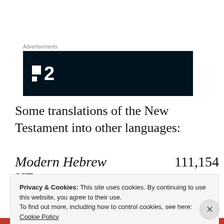Advertisements
[Figure (logo): Dark navy/black banner with a logo consisting of two white squares (stacked, different sizes) followed by the number 2 in white bold text — resembling the 'Plan 2' or similar brand logo.]
Some translations of the New Testament into other languages:
Modern Hebrew NT        111,154
Privacy & Cookies: This site uses cookies. By continuing to use this website, you agree to their use.
To find out more, including how to control cookies, see here: Cookie Policy
Close and accept